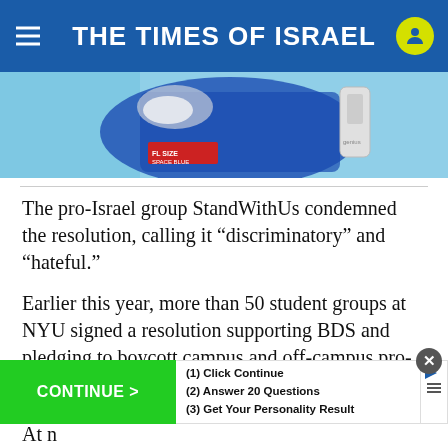THE TIMES OF ISRAEL
[Figure (photo): Advertisement banner showing a blue product (space blue colored item) with a device, partially visible]
The pro-Israel group StandWithUs condemned the resolution, calling it “discriminatory” and “hateful.”
Earlier this year, more than 50 student groups at NYU signed a resolution supporting BDS and pledging to boycott campus and off-campus pro-Israel groups. In October, more than 30 student groups cosigned an open letter to Hamilton saying they would not cooperate with the NYU Tel Aviv program.
[Figure (screenshot): Pop-up advertisement overlay with green CONTINUE > button and steps: (1) Click Continue, (2) Answer 20 Questions, (3) Get Your Personality Result]
At n